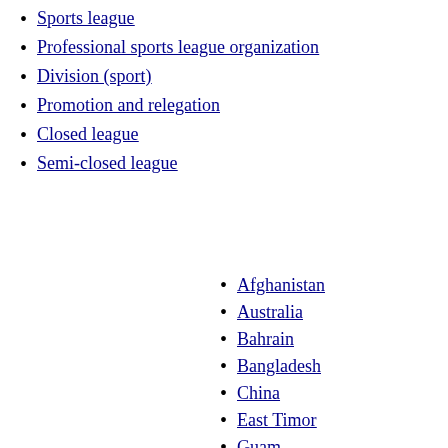Sports league
Professional sports league organization
Division (sport)
Promotion and relegation
Closed league
Semi-closed league
Afghanistan
Australia
Bahrain
Bangladesh
China
East Timor
Guam
Hong Kong
India
Indonesia
Iran
Iraq
Japan
South Korea
Kuwait
Lebanon
Macau
Malaysia
AFC